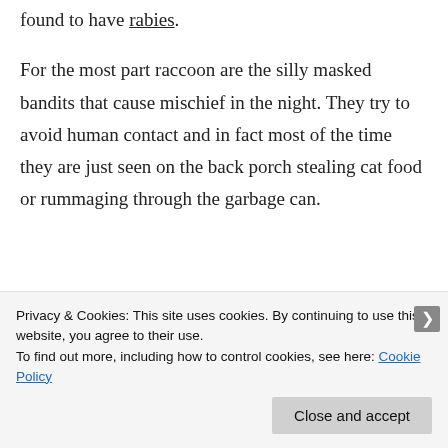found to have rabies.
For the most part raccoon are the silly masked bandits that cause mischief in the night. They try to avoid human contact and in fact most of the time they are just seen on the back porch stealing cat food or rummaging through the garbage can.
Privacy & Cookies: This site uses cookies. By continuing to use this website, you agree to their use.
To find out more, including how to control cookies, see here: Cookie Policy